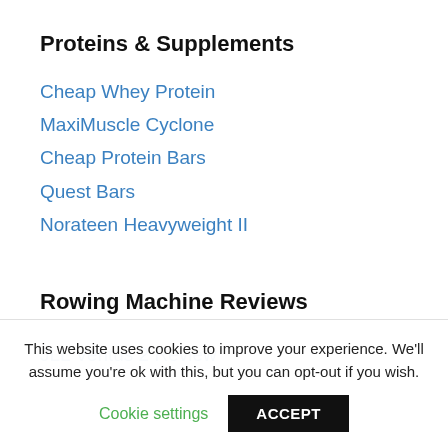Proteins & Supplements
Cheap Whey Protein
MaxiMuscle Cyclone
Cheap Protein Bars
Quest Bars
Norateen Heavyweight II
Rowing Machine Reviews
JLL Ventus 2 Review
This website uses cookies to improve your experience. We'll assume you're ok with this, but you can opt-out if you wish.
Cookie settings   ACCEPT